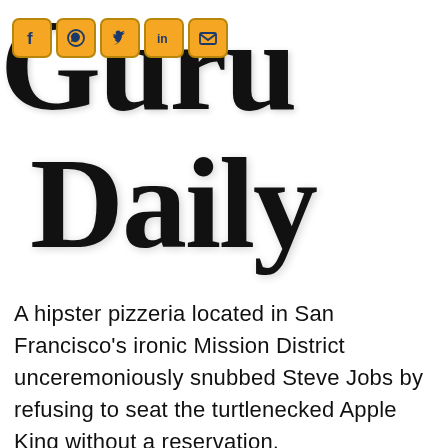[Figure (logo): Guru Daily logo with large serif text 'Guru Daily' and social media icons (Facebook, WhatsApp, Twitter, LinkedIn, Email) in orange/gold rounded square buttons]
A hipster pizzeria located in San Francisco's ironic Mission District unceremoniously snubbed Steve Jobs by refusing to seat the turtlenecked Apple King without a reservation.